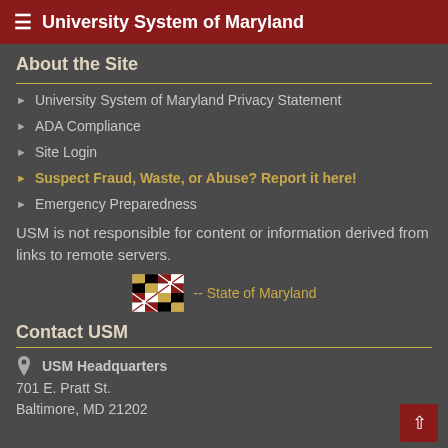University System of Maryland
About the Site
University System of Maryland Privacy Statement
ADA Compliance
Site Login
Suspect Fraud, Waste, or Abuse? Report it here!
Emergency Preparedness
USM is not responsible for content or information derived from links to remote servers.
[Figure (illustration): Maryland state flag icon followed by text '-- State of Maryland']
Contact USM
USM Headquarters
701 E. Pratt St.
Baltimore, MD 21202